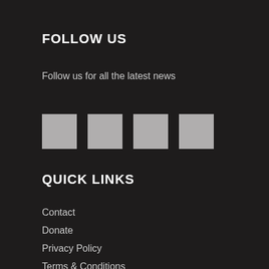FOLLOW US
Follow us for all the latest news
[Figure (illustration): Four grey social media icon placeholder squares in a row]
QUICK LINKS
Contact
Donate
Privacy Policy
Terms & Conditions